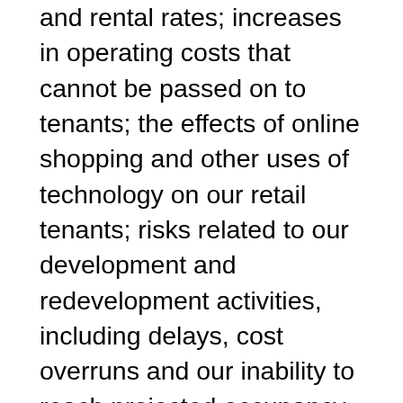and rental rates; increases in operating costs that cannot be passed on to tenants; the effects of online shopping and other uses of technology on our retail tenants; risks related to our development and redevelopment activities, including delays, cost overruns and our inability to reach projected occupancy or rental rates; acts of violence at malls, including our properties, or at other similar spaces, and the potential effect on traffic and sales; our ability to sell properties that we seek to dispose of or our ability to obtain prices we seek; our substantial debt and the liquidation preference of our preferred shares and our high leverage ratio; our ability to refinance our existing indebtedness when it matures, on favorable terms or at all; our ability to raise capital, including through sales of properties or interests in properties and through the issuance of equity or equity-related securities if market conditions are favorable; and potential dilution from any capital raising transactions or other equity issuances. Additional factors that might cause future events, achievements or results to